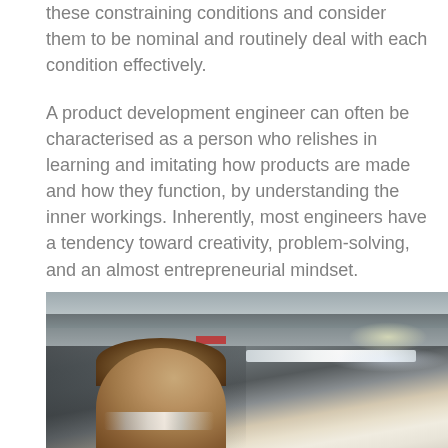these constraining conditions and consider them to be nominal and routinely deal with each condition effectively.
A product development engineer can often be characterised as a person who relishes in learning and imitating how products are made and how they function, by understanding the inner workings. Inherently, most engineers have a tendency toward creativity, problem-solving, and an almost entrepreneurial mindset.
[Figure (photo): A person wearing safety glasses in an industrial or laboratory setting, viewed from above. Overhead ceiling structures and lighting visible in the background.]